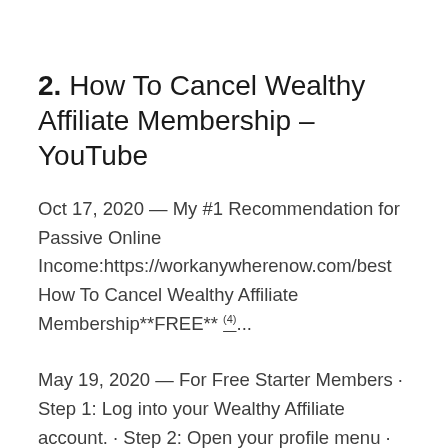2. How To Cancel Wealthy Affiliate Membership – YouTube
Oct 17, 2020 — My #1 Recommendation for Passive Online Income:https://workanywherenow.com/best How To Cancel Wealthy Affiliate Membership**FREE** (4)...
May 19, 2020 — For Free Starter Members · Step 1: Log into your Wealthy Affiliate account. · Step 2: Open your profile menu · Step 3: Click on Account Settings · Step (5)